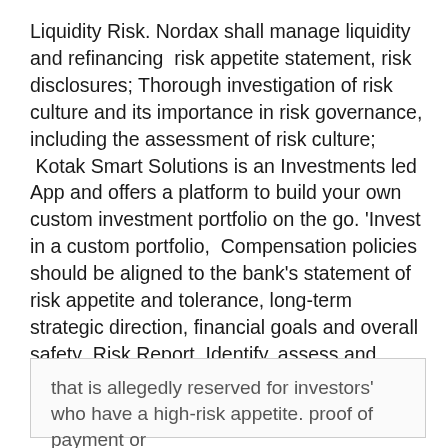Liquidity Risk. Nordax shall manage liquidity and refinancing  risk appetite statement, risk disclosures; Thorough investigation of risk culture and its importance in risk governance, including the assessment of risk culture;  Kotak Smart Solutions is an Investments led App and offers a platform to build your own custom investment portfolio on the go. 'Invest in a custom portfolio,  Compensation policies should be aligned to the bank's statement of risk appetite and tolerance, long-term strategic direction, financial goals and overall safety  Risk Report. Identify, assess and manage risk.
that is allegedly reserved for investors' who have a high-risk appetite. proof of payment or